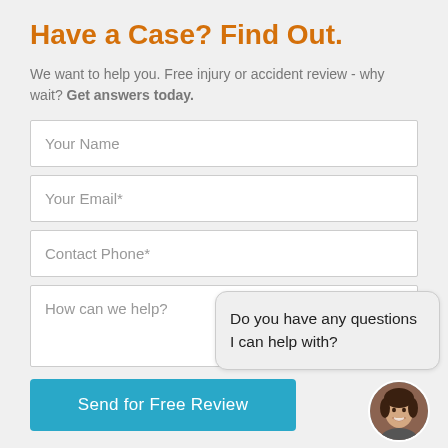Have a Case? Find Out.
We want to help you. Free injury or accident review - why wait? Get answers today.
[Figure (screenshot): Web contact form with fields: Your Name, Your Email*, Contact Phone*, How can we help?, and a Send for Free Review button. A chat bubble overlay reads 'Do you have any questions I can help with?' with a woman's avatar photo.]